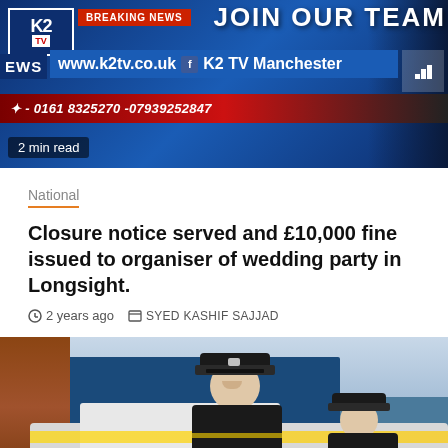[Figure (screenshot): K2 TV banner ad with 'JOIN OUR TEAM' text, BREAKING NEWS bar, www.k2tv.co.uk URL, K2 TV Manchester Facebook link, and phone numbers 0161 8325270 and 07939252847. Shows '2 min read' overlay.]
National
Closure notice served and £10,000 fine issued to organiser of wedding party in Longsight.
2 years ago   SYED KASHIF SAJJAD
[Figure (photo): Two police officers in uniform standing in front of a police vehicle outdoors, with a brick building and blue wall in the background. A red scroll-to-top button is visible in the bottom right corner.]